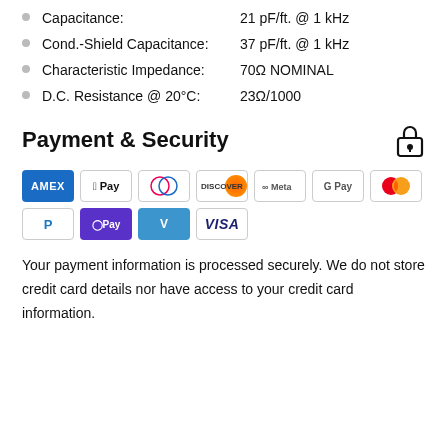Capacitance: 21 pF/ft. @ 1 kHz
Cond.-Shield Capacitance: 37 pF/ft. @ 1 kHz
Characteristic Impedance: 70Ω NOMINAL
D.C. Resistance @ 20°C: 23Ω/1000
Payment & Security
[Figure (other): Payment method icons: AMEX, Apple Pay, Diners Club, Discover, Meta Pay, Google Pay, Mastercard, PayPal, OPay, Venmo, Visa]
Your payment information is processed securely. We do not store credit card details nor have access to your credit card information.